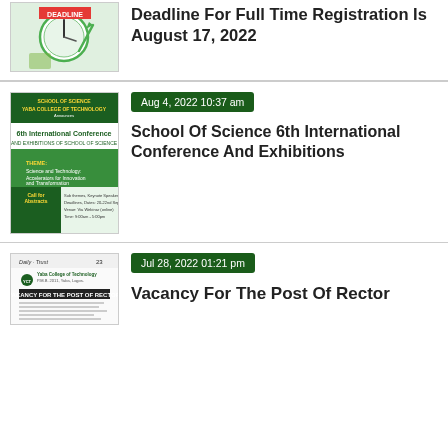[Figure (photo): Deadline image with clock and person, green theme]
Deadline For Full Time Registration Is August 17, 2022
[Figure (photo): School of Science 6th International Conference and Exhibitions poster, Yaba College of Technology]
Aug 4, 2022 10:37 am
School Of Science 6th International Conference And Exhibitions
[Figure (photo): Vacancy for the Post of Rector document, Yaba College of Technology]
Jul 28, 2022 01:21 pm
Vacancy For The Post Of Rector